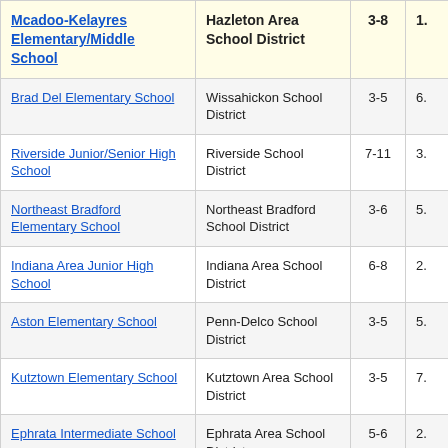| School | District | Grades | Value |
| --- | --- | --- | --- |
| Mcadoo-Kelayres Elementary/Middle School | Hazleton Area School District | 3-8 | 1. |
| Brad Del Elementary School | Wissahickon School District | 3-5 | 6. |
| Riverside Junior/Senior High School | Riverside School District | 7-11 | 3. |
| Northeast Bradford Elementary School | Northeast Bradford School District | 3-6 | 5. |
| Indiana Area Junior High School | Indiana Area School District | 6-8 | 2. |
| Aston Elementary School | Penn-Delco School District | 3-5 | 5. |
| Kutztown Elementary School | Kutztown Area School District | 3-5 | 7. |
| Ephrata Intermediate School | Ephrata Area School District | 5-6 | 2. |